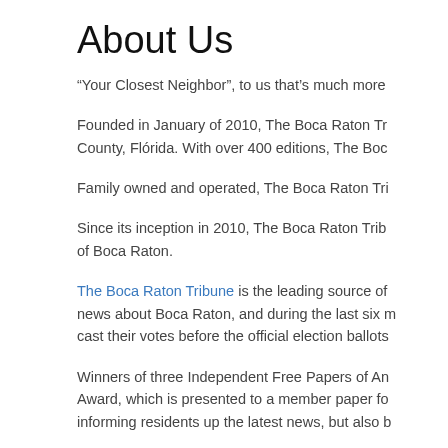About Us
“Your Closest Neighbor”, to us that’s much more
Founded in January of 2010, The Boca Raton Tr County, Flórida. With over 400 editions, The Boc
Family owned and operated, The Boca Raton Tri
Since its inception in 2010, The Boca Raton Trib of Boca Raton.
The Boca Raton Tribune is the leading source of news about Boca Raton, and during the last six m cast their votes before the official election ballots
Winners of three Independent Free Papers of An Award, which is presented to a member paper fo informing residents up the latest news, but also b
Printed weekly and distributed to over 30,000 re: